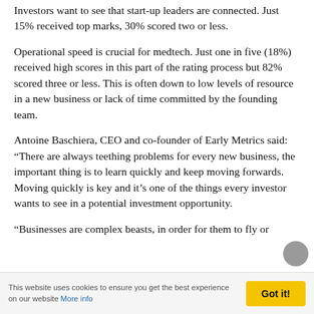Investors want to see that start-up leaders are connected. Just 15% received top marks, 30% scored two or less.
Operational speed is crucial for medtech. Just one in five (18%) received high scores in this part of the rating process but 82% scored three or less. This is often down to low levels of resource in a new business or lack of time committed by the founding team.
Antoine Baschiera, CEO and co-founder of Early Metrics said: “There are always teething problems for every new business, the important thing is to learn quickly and keep moving forwards. Moving quickly is key and it’s one of the things every investor wants to see in a potential investment opportunity.
“Businesses are complex beasts, in order for them to fly or
This website uses cookies to ensure you get the best experience on our website More info